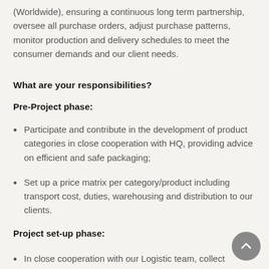(Worldwide), ensuring a continuous long term partnership, oversee all purchase orders, adjust purchase patterns, monitor production and delivery schedules to meet the consumer demands and our client needs.
What are your responsibilities?
Pre-Project phase:
Participate and contribute in the development of product categories in close cooperation with HQ, providing advice on efficient and safe packaging;
Set up a price matrix per category/product including transport cost, duties, warehousing and distribution to our clients.
Project set-up phase:
In close cooperation with our Logistic team, collect multiple LSP's offers;
Collect all information on transport and Logistic and...